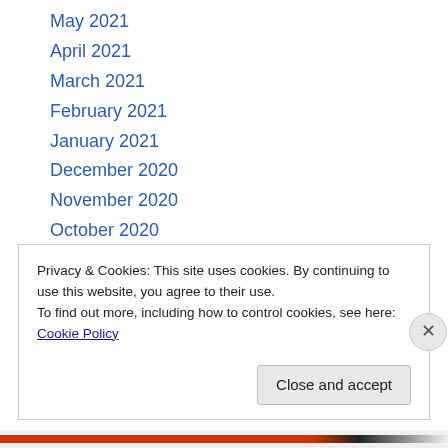May 2021
April 2021
March 2021
February 2021
January 2021
December 2020
November 2020
October 2020
September 2020
August 2020
July 2020
Privacy & Cookies: This site uses cookies. By continuing to use this website, you agree to their use.
To find out more, including how to control cookies, see here: Cookie Policy
Close and accept